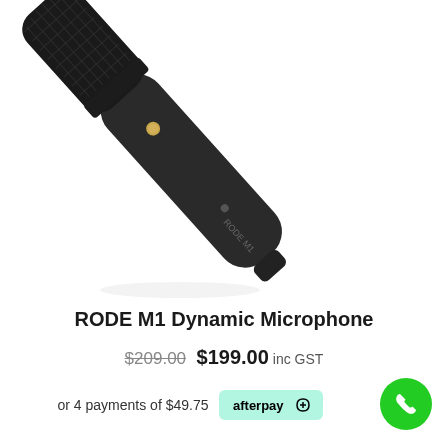[Figure (photo): RODE M1 dynamic microphone, black, diagonal orientation with gold dot and mesh head visible, handle labeled RODE M1]
RODE M1 Dynamic Microphone
$209.00 $199.00 inc GST
or 4 payments of $49.75  afterpay